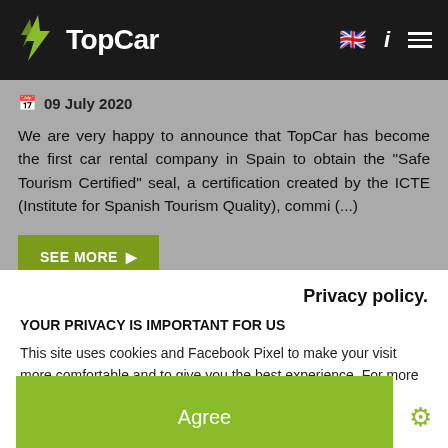TopCar
09 July 2020
We are very happy to announce that TopCar has become the first car rental company in Spain to obtain the "Safe Tourism Certified" seal, a certification created by the ICTE (Institute for Spanish Tourism Quality), commi (...)
SEE MORE
Privacy policy.
YOUR PRIVACY IS IMPORTANT FOR US
This site uses cookies and Facebook Pixel to make your visit more comfortable and to give you the best experience. For more information about our use of cookies, see our
Agree